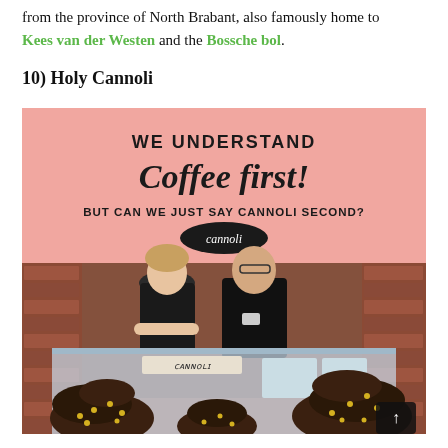from the province of North Brabant, also famously home to Kees van der Westen and the Bossche bol.
10) Holy Cannoli
[Figure (photo): Two people standing behind a cannoli vendor stall with a pink banner reading 'WE UNDERSTAND Coffee first! BUT CAN WE JUST SAY CANNOLI SECOND?' and a display case filled with cannoli in the foreground.]